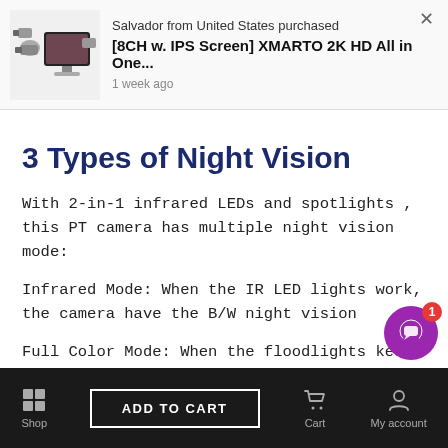[Figure (screenshot): Notification popup showing a product purchase: 'Salvador from United States purchased [8CH w. IPS Screen] XMARTO 2K HD All in One... 1 week ago' with a product thumbnail image and a close (×) button.]
3 Types of Night Vision
With 2-in-1 infrared LEDs and spotlights , this PT camera has multiple night vision mode:
Infrared Mode: When the IR LED lights work, the camera have the B/W night vision
Full Color Mode: When the floodlights kee
Shop   ADD TO CART   Cart   My account